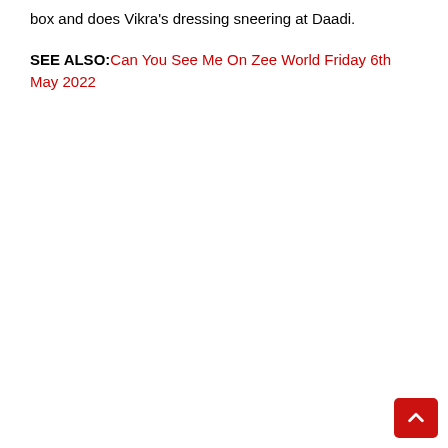box and does Vikra's dressing sneering at Daadi.
SEE ALSO: Can You See Me On Zee World Friday 6th May 2022